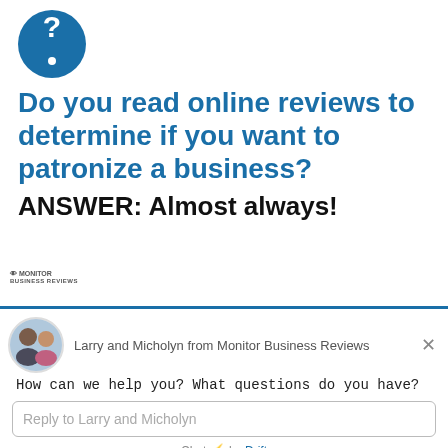[Figure (illustration): Blue circle with white question mark icon]
Do you read online reviews to determine if you want to patronize a business?
ANSWER: Almost always!
[Figure (screenshot): Chat widget from Monitor Business Reviews showing Larry and Micholyn avatars, message 'How can we help you? What questions do you have?', reply input box, and 'Chat by Drift' footer]
[Figure (logo): Monitor Business Reviews logo badge]
Larry and Micholyn from Monitor Business Reviews
How can we help you? What questions do you have?
Reply to Larry and Micholyn
Chat ⚡ by Drift